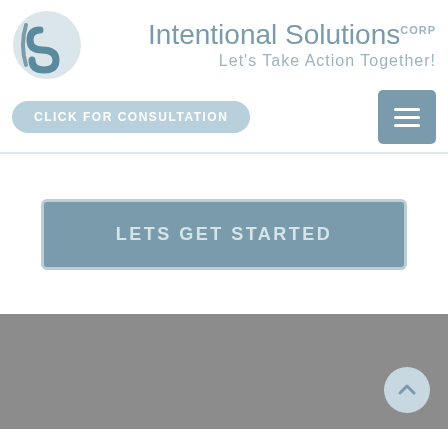[Figure (logo): Intentional Solutions Corp logo with circular S icon and tagline 'Let's Take Action Together!']
CLICK FOR CONSULTATION
LETS GET STARTED
[Figure (other): Gray footer section with scroll-to-top button]